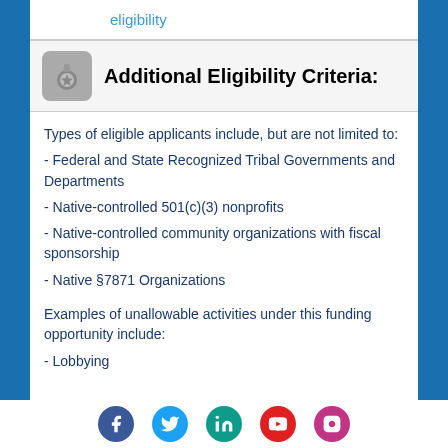eligibility
Additional Eligibility Criteria:
Types of eligible applicants include, but are not limited to:
- Federal and State Recognized Tribal Governments and Departments
- Native-controlled 501(c)(3) nonprofits
- Native-controlled community organizations with fiscal sponsorship
- Native §7871 Organizations

Examples of unallowable activities under this funding opportunity include:
- Lobbying
[Figure (other): Social media icons row: Facebook, Twitter, LinkedIn, YouTube, Instagram]